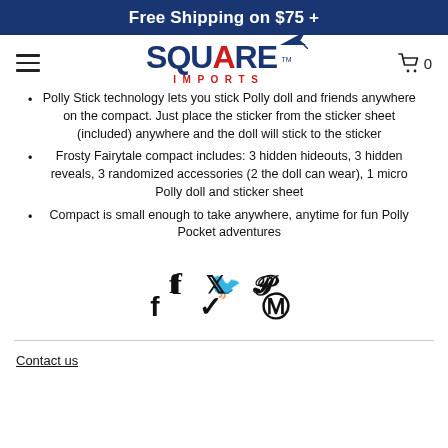Free Shipping on $75 +
[Figure (logo): Square Imports logo with hamburger menu and shopping cart icon showing 0 items]
Polly Stick technology lets you stick Polly doll and friends anywhere on the compact. Just place the sticker from the sticker sheet (included) anywhere and the doll will stick to the sticker
Frosty Fairytale compact includes: 3 hidden hideouts, 3 hidden reveals, 3 randomized accessories (2 the doll can wear), 1 micro Polly doll and sticker sheet
Compact is small enough to take anywhere, anytime for fun Polly Pocket adventures
[Figure (infographic): Social media share icons: Facebook (f), Twitter (bird), Pinterest (P)]
Contact us